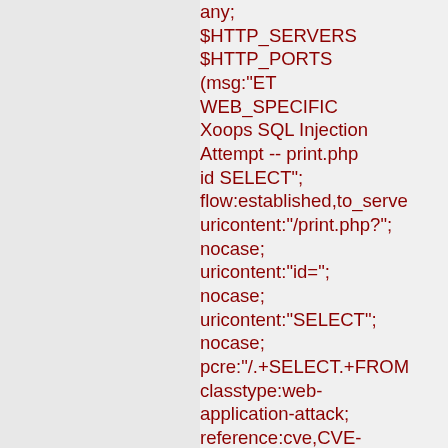any;
$HTTP_SERVERS
$HTTP_PORTS
(msg:"ET WEB_SPECIFIC Xoops SQL Injection Attempt -- print.php id SELECT";
flow:established,to_server;
uricontent:"/print.php?";
nocase;
uricontent:"id=";
nocase;
uricontent:"SELECT";
nocase;
pcre:"/.+SELECT.+FROM
classtype:web-application-attack;
reference:cve,CVE-2007-3311;
reference:url,www.milw0r
reference:url,doc.emergin
reference:url,www.emergi
bin/cvsweb.cgi/sigs/WEB